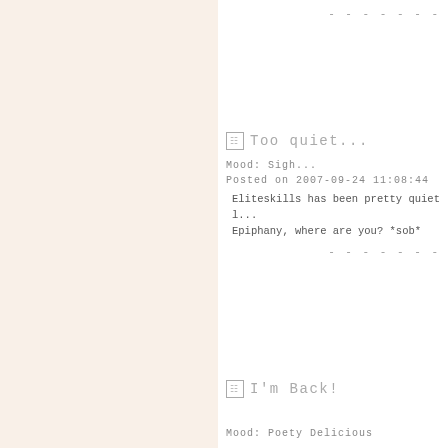-------
Too quiet...
Mood: Sigh...
Posted on 2007-09-24 11:08:44
Eliteskills has been pretty quiet lately... Epiphany, where are you? *sob*
-------
I'm Back!
Mood: Poety Delicious